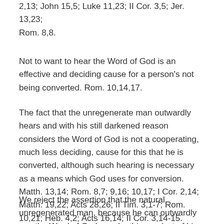2,13; John 15,5; Luke 11,23; II Cor. 3,5; Jer. 13,23; Rom. 8,8.
Not to want to hear the Word of God is an effective and deciding cause for a person's not being converted. Rom. 10,14,17.
The fact that the unregenerate man outwardly hears and with his still darkened reason considers the Word of God is not a cooperating, much less deciding, cause for this that he is converted, although such hearing is necessary as a means which God uses for conversion. Matth. 13,14; Rom. 8,7; 9,16; 10,17; I Cor. 2,14; Matth. 19,22; Acts 28,26; II Tim. 3,1-7; Rom. 10,21; Heb. 4,2; Acts 16,14; II Cor. 3,14-15.
We reject the assertion that the natural, unregenerated man, because he can outwardly use the Word of God, can by this conduct of his cooperate in his conversion.